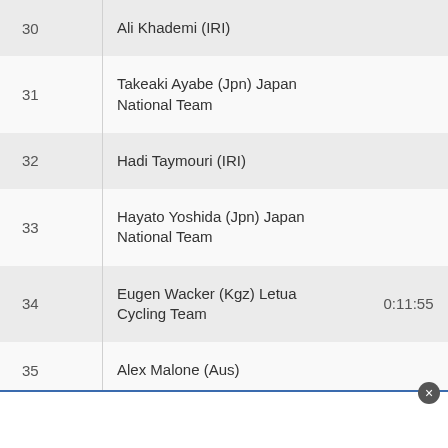| # | Name | Time |
| --- | --- | --- |
| 30 | Ali Khademi (IRI) |  |
| 31 | Takeaki Ayabe (Jpn) Japan National Team |  |
| 32 | Hadi Taymouri (IRI) |  |
| 33 | Hayato Yoshida (Jpn) Japan National Team |  |
| 34 | Eugen Wacker (Kgz) Letua Cycling Team | 0:11:55 |
| 35 | Alex Malone (Aus) |  |
| 36 | Markus Eibegger (Aut) Tabriz Petrochemical Team |  |
| 37 | Mohammad Ghoddousi Ravari (IRI) |  |